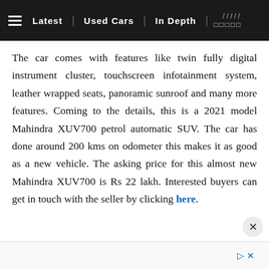≡  Latest | Used Cars | In Depth | ///// □□□□□
The car comes with features like twin fully digital instrument cluster, touchscreen infotainment system, leather wrapped seats, panoramic sunroof and many more features. Coming to the details, this is a 2021 model Mahindra XUV700 petrol automatic SUV. The car has done around 200 kms on odometer this makes it as good as a new vehicle. The asking price for this almost new Mahindra XUV700 is Rs 22 lakh. Interested buyers can get in touch with the seller by clicking here.